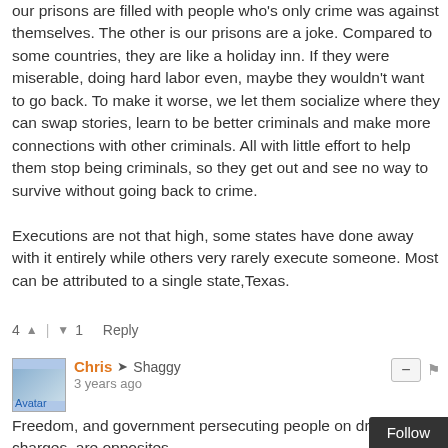our prisons are filled with people who's only crime was against themselves. The other is our prisons are a joke. Compared to some countries, they are like a holiday inn. If they were miserable, doing hard labor even, maybe they wouldn't want to go back. To make it worse, we let them socialize where they can swap stories, learn to be better criminals and make more connections with other criminals. All with little effort to help them stop being criminals, so they get out and see no way to survive without going back to crime.

Executions are not that high, some states have done away with it entirely while others very rarely execute someone. Most can be attributed to a single state,Texas.
4 ▲ | ▼ 1   Reply
Chris → Shaggy
3 years ago
Freedom, and government persecuting people on drug charges, are opposites.